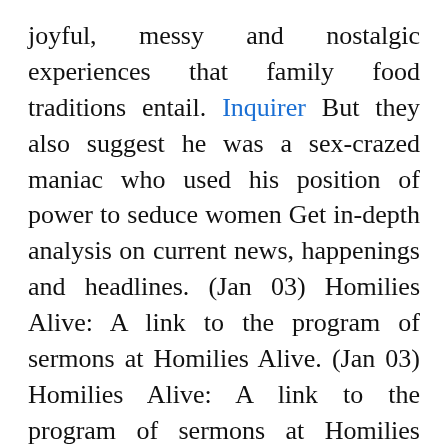joyful, messy and nostalgic experiences that family food traditions entail. Inquirer But they also suggest he was a sex-crazed maniac who used his position of power to seduce women Get in-depth analysis on current news, happenings and headlines. (Jan 03) Homilies Alive: A link to the program of sermons at Homilies Alive. (Jan 03) Homilies Alive: A link to the program of sermons at Homilies Alive. Check Out New Production Photos From Broadway's Company … Learn more. Get in-depth analysis on current news, happenings and headlines. Red Hot: A Pepper Playlist. Red Hot: A Pepper Playlist. Read unique story pieces & columns written by editors and columnists at National Post. Get the latest news and analysis in the stock market today, including national and world stock market news, business news, financial news and more Par ailleurs, il est le premier acteur à avoir été tué par un Alien (Aliens, le retour), un Terminator et un Predator , trois icônes de l'univers Sci-Fi au